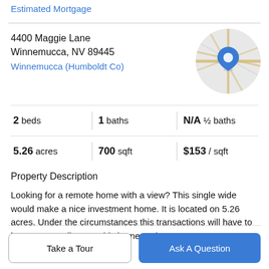Estimated Mortgage
4400 Maggie Lane
Winnemucca, NV 89445
Winnemucca (Humboldt Co)
[Figure (map): Circular map thumbnail showing street map of Winnemucca area with a blue location pin marker]
2 beds | 1 baths | N/A ½ baths
5.26 acres | 700 sqft | $153 / sqft
Property Description
Looking for a remote home with a view? This single wide would make a nice investment home. It is located on 5.26 acres. Under the circumstances this transactions will have to be CASH!! Call to see this home, today!
Take a Tour
Ask A Question